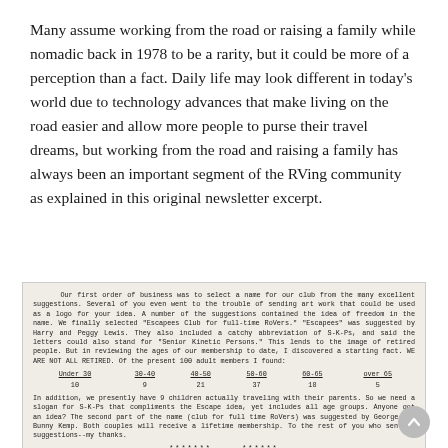Many assume working from the road or raising a family while nomadic back in 1978 to be a rarity, but it could be more of a perception than a fact. Daily life may look different in today's world due to technology advances that make living on the road easier and allow more people to purse their travel dreams, but working from the road and raising a family has always been an important segment of the RVing community as explained in this original newsletter excerpt.
[Figure (screenshot): Scanned newsletter excerpt in monospace typeface describing the selection of the club name 'Escapees Club for full-time RoVers,' including an age distribution table of 100 adult members and a closing note about children traveling with parents.]